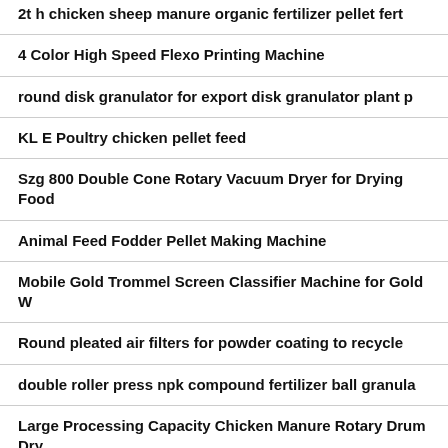2t h chicken sheep manure organic fertilizer pellet fert
4 Color High Speed Flexo Printing Machine
round disk granulator for export disk granulator plant p
KL E Poultry chicken pellet feed
Szg 800 Double Cone Rotary Vacuum Dryer for Drying Food
Animal Feed Fodder Pellet Making Machine
Mobile Gold Trommel Screen Classifier Machine for Gold W
Round pleated air filters for powder coating to recycle
double roller press npk compound fertilizer ball granula
Large Processing Capacity Chicken Manure Rotary Drum Dry
Automatic Carafe Mineral Water Filling Machine with